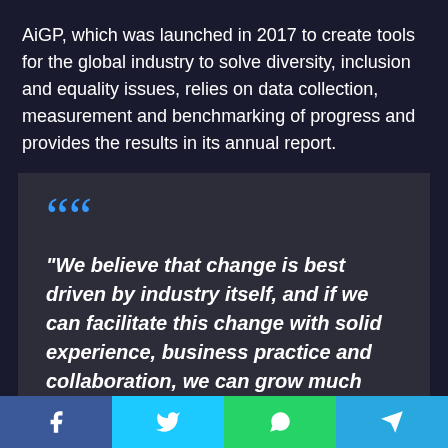AiGP, which was launched in 2017 to create tools for the global industry to solve diversity, inclusion and equality issues, relies on data collection, measurement and benchmarking of progress and provides the results in its annual report.
"We believe that change is best driven by industry itself, and if we can facilitate this change with solid experience, business practice and collaboration, we can grow much faster than ourselves."
AiGP